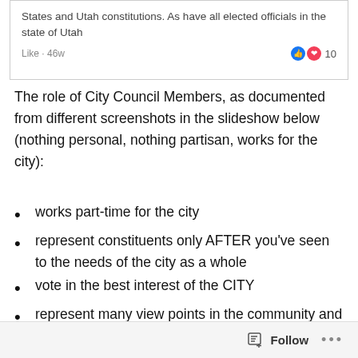[Figure (screenshot): Facebook post screenshot showing text: 'States and Utah constitutions. As have all elected officials in the state of Utah' with Like · 46w and reaction count of 10]
The role of City Council Members, as documented from different screenshots in the slideshow below (nothing personal, nothing partisan, works for the city):
works part-time for the city
represent constituents only AFTER you've seen to the needs of the city as a whole
vote in the best interest of the CITY
represent many view points in the community and provide the Council with advice based on a FULL spectrum of concerns and perspectives
Follow  •••